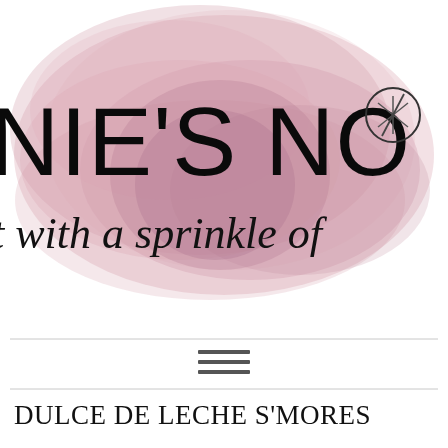[Figure (logo): Blog logo with pink watercolor blob background, large sans-serif text reading NIE'S NO with whisk/spatula icon, and script text reading 't with a sprinkle of']
[Figure (other): Hamburger menu icon with three horizontal lines]
DULCE DE LECHE S'MORES